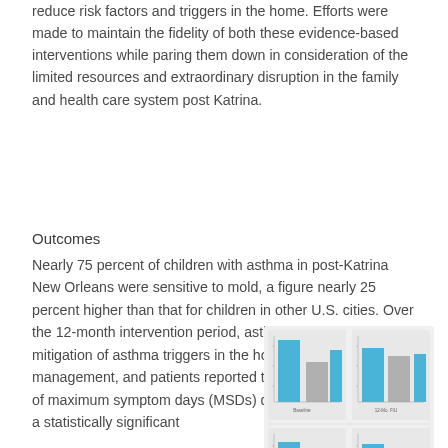reduce risk factors and triggers in the home. Efforts were made to maintain the fidelity of both these evidence-based interventions while paring them down in consideration of the limited resources and extraordinary disruption in the family and health care system post Katrina.
Outcomes
Nearly 75 percent of children with asthma in post-Katrina New Orleans were sensitive to mold, a figure nearly 25 percent higher than that for children in other U.S. cities. Over the 12-month intervention period, asthma counseling and mitigation of asthma triggers in the home improved asthma management, and patients reported that the average number of maximum symptom days (MSDs) declined from 6.5 to 3.6, a statistically significant
[Figure (bar-chart): Two sets of grouped bar charts showing asthma outcome data, with blue and gray bars, displayed in a 2x2 grid arrangement]